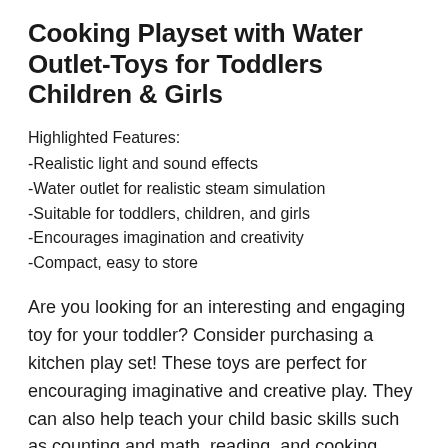Cooking Playset with Water Outlet-Toys for Toddlers Children & Girls
Highlighted Features:
-Realistic light and sound effects
-Water outlet for realistic steam simulation
-Suitable for toddlers, children, and girls
-Encourages imagination and creativity
-Compact, easy to store
Are you looking for an interesting and engaging toy for your toddler? Consider purchasing a kitchen play set! These toys are perfect for encouraging imaginative and creative play. They can also help teach your child basic skills such as counting and math, reading, and cooking.